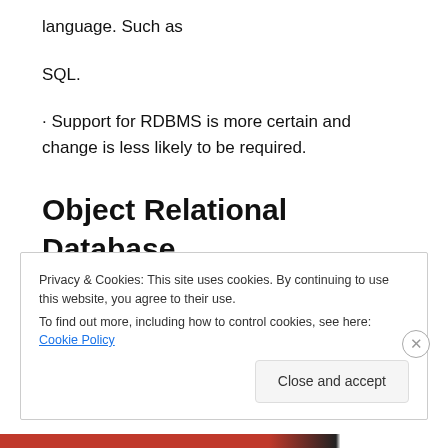language. Such as
SQL.
· Support for RDBMS is more certain and change is less likely to be required.
Object Relational Database Management Systems
Privacy & Cookies: This site uses cookies. By continuing to use this website, you agree to their use.
To find out more, including how to control cookies, see here: Cookie Policy
Close and accept